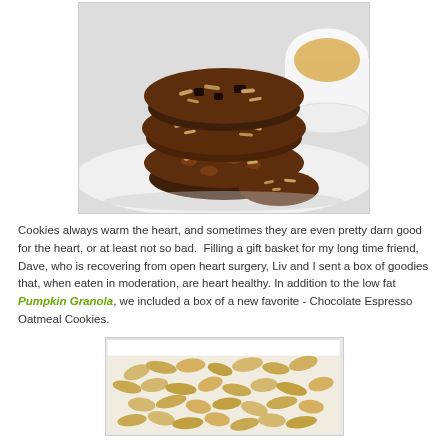[Figure (photo): Stack of chocolate espresso oatmeal cookies on a white plate with a small white bowl in the background]
Cookies always warm the heart, and sometimes they are even pretty darn good for the heart, or at least not so bad.  Filling a gift basket for my long time friend, Dave, who is recovering from open heart surgery, Liv and I sent a box of goodies that, when eaten in moderation, are heart healthy. In addition to the low fat Pumpkin Granola, we included a box of a new favorite - Chocolate Espresso Oatmeal Cookies.
[Figure (photo): Close-up of rolled oats in a white bowl or container]